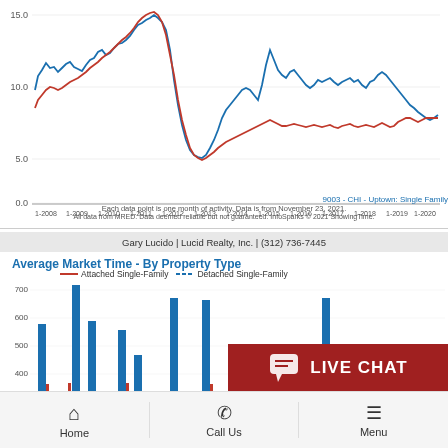[Figure (continuous-plot): Line chart showing months of supply by property type for CHI - Uptown: Single Family from 1-2008 to 1-2021. Two lines: blue (Detached Single-Family) and red (Attached Single-Family). Y-axis ranges 0.0 to 15.0. Both lines start around 9-13, peak around 1-2011 at ~15, then decline to ~3-4 by 2021.]
9003 - CHI - Uptown: Single Family
Each data point is one month of activity. Data is from November 23, 2021.
All data from MRED. Data deemed reliable but not guaranteed. InfoSparks © 2021 ShowingTime.
Gary Lucido | Lucid Realty, Inc. | (312) 736-7445
Average Market Time - By Property Type
[Figure (bar-chart): Bar chart showing Average Market Time by Property Type (Attached Single-Family in red, Detached Single-Family in blue). Y-axis shows values 300-700+. Blue bars show very tall spikes reaching ~450, ~660, ~470, ~420, ~570, ~560, ~150, ~270 at various dates. Red bars are very thin/small.]
[Figure (screenshot): LIVE CHAT button overlay in dark red]
Home   Call Us   Menu